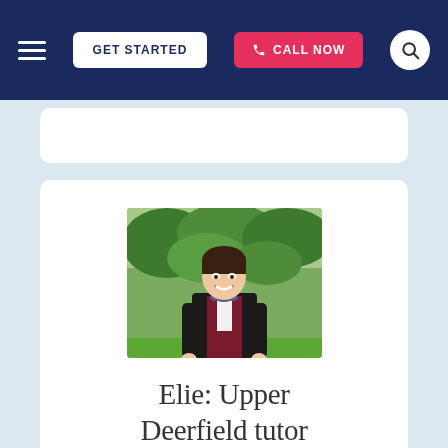GET STARTED | CALL NOW
[Figure (photo): Young man in a black suit jacket with a dark red/maroon vest and bow tie, smiling, standing outdoors in front of green trees and grass.]
Elie: Upper Deerfield tutor